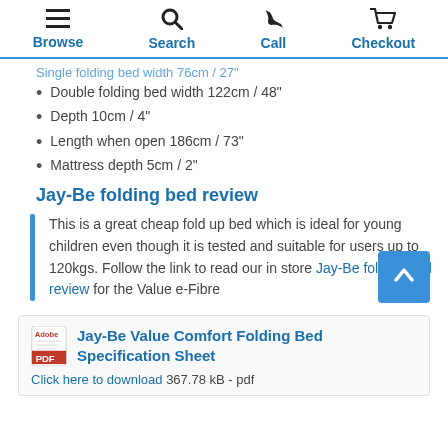Browse  Search  Call  Checkout
Single folding bed width 76cm / 27"
Double folding bed width 122cm / 48"
Depth 10cm / 4"
Length when open 186cm / 73"
Mattress depth 5cm / 2"
Jay-Be folding bed review
This is a great cheap fold up bed which is ideal for young children even though it is tested and suitable for users up to 120kgs. Follow the link to read our in store Jay-Be folding bed review for the Value e-Fibre
Jay-Be Value Comfort Folding Bed Specification Sheet
Click here to download 367.78 kB - pdf